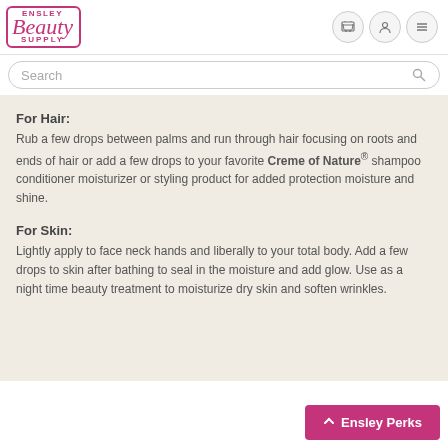[Figure (logo): Ensley Beauty Supply logo — pink cursive 'Beauty' with 'ENSLEY' and 'SUPPLY' in block letters, inside a pink rounded rectangle border]
[Figure (other): Navigation icons: shopping cart, user/person, and hamburger menu — three circular grey buttons]
Search
For Hair:
Rub a few drops between palms and run through hair focusing on roots and ends of hair or add a few drops to your favorite Creme of Nature® shampoo conditioner moisturizer or styling product for added protection moisture and shine.
For Skin:
Lightly apply to face neck hands and liberally to your total body. Add a few drops to skin after bathing to seal in the moisture and add glow. Use as a night time beauty treatment to moisturize dry skin and soften wrinkles.
Ensley Perks